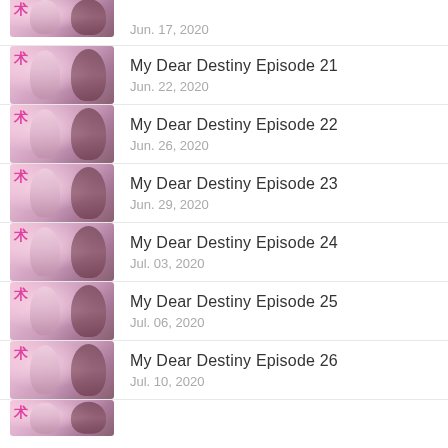Jun. 17, 2020
My Dear Destiny Episode 21
Jun. 22, 2020
My Dear Destiny Episode 22
Jun. 26, 2020
My Dear Destiny Episode 23
Jun. 29, 2020
My Dear Destiny Episode 24
Jul. 03, 2020
My Dear Destiny Episode 25
Jul. 06, 2020
My Dear Destiny Episode 26
Jul. 10, 2020
(partial thumbnail visible)